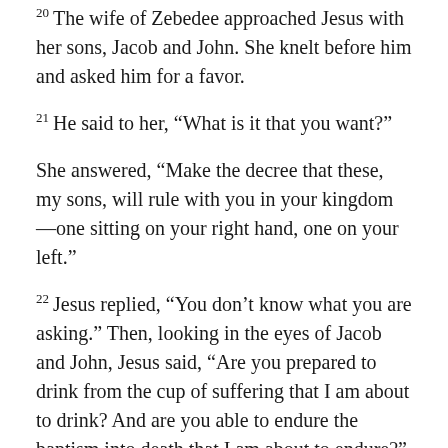20 The wife of Zebedee approached Jesus with her sons, Jacob and John. She knelt before him and asked him for a favor.
21 He said to her, “What is it that you want?”
She answered, “Make the decree that these, my sons, will rule with you in your kingdom—one sitting on your right hand, one on your left.”
22 Jesus replied, “You don’t know what you are asking.” Then, looking in the eyes of Jacob and John, Jesus said, “Are you prepared to drink from the cup of suffering that I am about to drink? And are you able to endure the baptism into death that I am about to endure?”